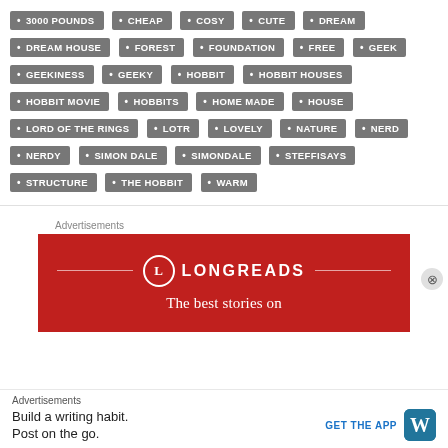3000 POUNDS
CHEAP
COSY
CUTE
DREAM
DREAM HOUSE
FOREST
FOUNDATION
FREE
GEEK
GEEKINESS
GEEKY
HOBBIT
HOBBIT HOUSES
HOBBIT MOVIE
HOBBITS
HOME MADE
HOUSE
LORD OF THE RINGS
LOTR
LOVELY
NATURE
NERD
NERDY
SIMON DALE
SIMONDALE
STEFFISAYS
STRUCTURE
THE HOBBIT
WARM
Advertisements
[Figure (other): Longreads advertisement banner — red background with Longreads logo and tagline 'The best stories on']
Advertisements
Build a writing habit. Post on the go. GET THE APP [WordPress logo]